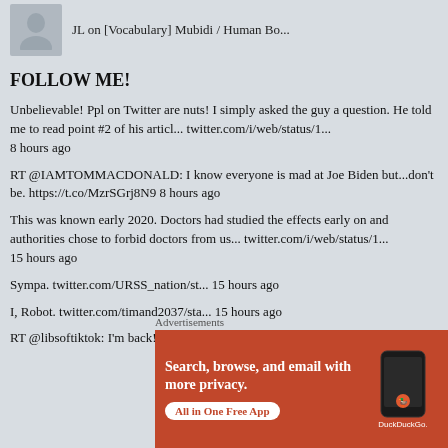[Figure (photo): User avatar placeholder (grey silhouette icon) with text 'JL on [Vocabulary] Mubidi / Human Bo...' next to it]
FOLLOW ME!
Unbelievable! Ppl on Twitter are nuts! I simply asked the guy a question. He told me to read point #2 of his articl... twitter.com/i/web/status/1... 8 hours ago
RT @IAMTOMMACDONALD: I know everyone is mad at Joe Biden but...don't be. https://t.co/MzrSGrj8N9 8 hours ago
This was known early 2020. Doctors had studied the effects early on and authorities chose to forbid doctors from us... twitter.com/i/web/status/1... 15 hours ago
Sympa. twitter.com/URSS_nation/st... 15 hours ago
I, Robot. twitter.com/timand2037/sta... 15 hours ago
RT @libsoftiktok: I'm back! Read the letter I sent to Twitter while I was gone:
Advertisements
[Figure (screenshot): DuckDuckGo advertisement banner with orange/red background. Text reads 'Search, browse, and email with more privacy. All in One Free App' with DuckDuckGo logo and phone image.]